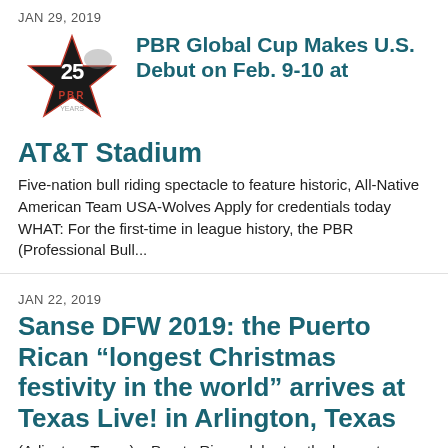JAN 29, 2019
[Figure (logo): PBR 25th anniversary logo with bull rider on star]
PBR Global Cup Makes U.S. Debut on Feb. 9-10 at AT&T Stadium
Five-nation bull riding spectacle to feature historic, All-Native American Team USA-Wolves Apply for credentials today WHAT: For the first-time in league history, the PBR (Professional Bull...
JAN 22, 2019
Sanse DFW 2019: the Puerto Rican “longest Christmas festivity in the world” arrives at Texas Live! in Arlington, Texas
(Arlington, Texas) – Puerto Rico celebrates the longest Christmas in the world, and that celebration will be felt on Sunday, January 27, 2019 with the Sanse DFW 2019 event, to be presented at